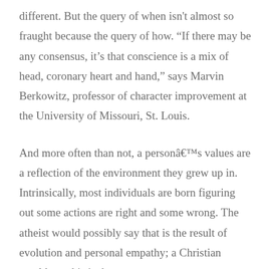different. But the query of when isn't almost so fraught because the query of how. “If there may be any consensus, it’s that conscience is a mix of head, coronary heart and hand,” says Marvin Berkowitz, professor of character improvement at the University of Missouri, St. Louis.
And more often than not, a personâ€™s values are a reflection of the environment they grew up in. Intrinsically, most individuals are born figuring out some actions are right and some wrong. The atheist would possibly say that is the result of evolution and personal empathy; a Christian would say this is the